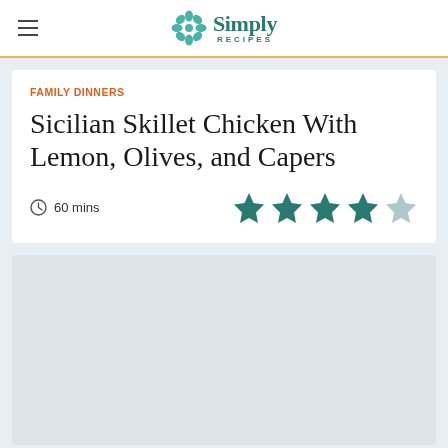Simply Recipes
FAMILY DINNERS
Sicilian Skillet Chicken With Lemon, Olives, and Capers
60 mins · 4 stars out of 5